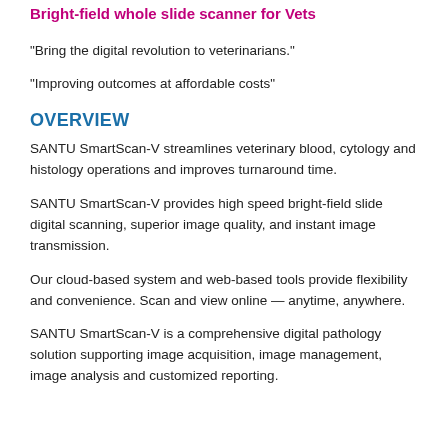Bright-field whole slide scanner for Vets
“Bring the digital revolution to veterinarians.”
“Improving outcomes at affordable costs”
OVERVIEW
SANTU SmartScan-V streamlines veterinary blood, cytology and histology operations and improves turnaround time.
SANTU SmartScan-V provides high speed bright-field slide digital scanning, superior image quality, and instant image transmission.
Our cloud-based system and web-based tools provide flexibility and convenience. Scan and view online — anytime, anywhere.
SANTU SmartScan-V is a comprehensive digital pathology solution supporting image acquisition, image management, image analysis and customized reporting.